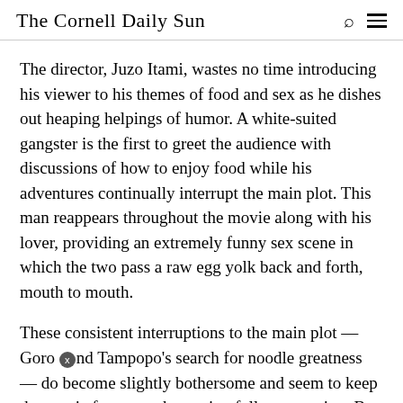The Cornell Daily Sun
The director, Juzo Itami, wastes no time introducing his viewer to his themes of food and sex as he dishes out heaping helpings of humor. A white-suited gangster is the first to greet the audience with discussions of how to enjoy food while his adventures continually interrupt the main plot. This man reappears throughout the movie along with his lover, providing an extremely funny sex scene in which the two pass a raw egg yolk back and forth, mouth to mouth.
These consistent interruptions to the main plot — Goro and Tampopo's search for noodle greatness — do become slightly bothersome and seem to keep the movie from ever becoming fully engrossing. But these scenes add breadth and keep the food theme consistent throughout. The final and longest scene of the movie — a mother